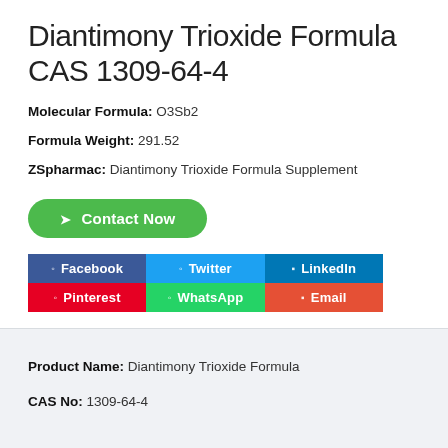Diantimony Trioxide Formula CAS 1309-64-4
Molecular Formula: O3Sb2
Formula Weight: 291.52
ZSpharmac: Diantimony Trioxide Formula Supplement
[Figure (other): Green 'Contact Now' button with right-arrow icon]
[Figure (infographic): Social sharing buttons: Facebook (dark blue), Twitter (blue), LinkedIn (blue), Pinterest (red), WhatsApp (green), Email (orange-red)]
Product Name: Diantimony Trioxide Formula
CAS No: 1309-64-4